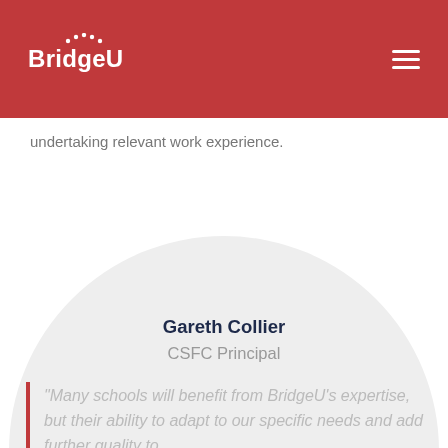BridgeU
undertaking relevant work experience.
Gareth Collier
CSFC Principal
“Many schools will benefit from BridgeU’s expertise, but their ability to adapt to our specific needs and add further quality to